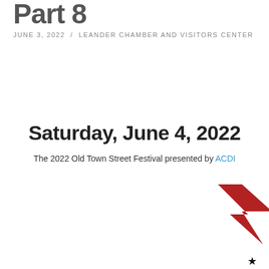Part 8
JUNE 3, 2022 / LEANDER CHAMBER AND VISITORS CENTER
Saturday, June 4, 2022
The 2022 Old Town Street Festival presented by ACDI
[Figure (infographic): Old Town Street Festival Schedule banner with grey star shape on left, red star shape on right, blue bold title text 'OLD TOWN STREET FESTIVAL SCHEDULE', small black star bullet, and schedule items listing 10:30 AM 5K Check In and Packet Pick Up Begins, 11:00 AM Old Town 5K presented by Cedar Park Regional Medical Center, Vendor Booths Open, Children's Fun Zone presented by HL Chapman opens]